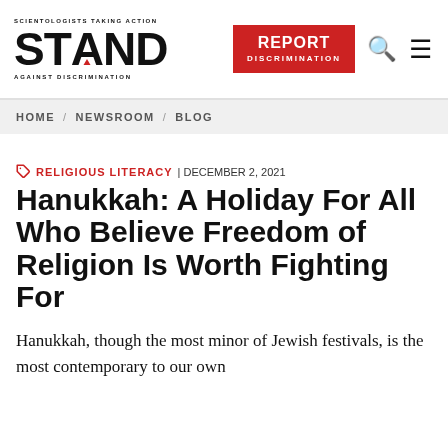SCIENTOLOGISTS TAKING ACTION | STAND AGAINST DISCRIMINATION | REPORT DISCRIMINATION
HOME / NEWSROOM / BLOG
RELIGIOUS LITERACY | DECEMBER 2, 2021
Hanukkah: A Holiday For All Who Believe Freedom of Religion Is Worth Fighting For
Hanukkah, though the most minor of Jewish festivals, is the most contemporary to our own